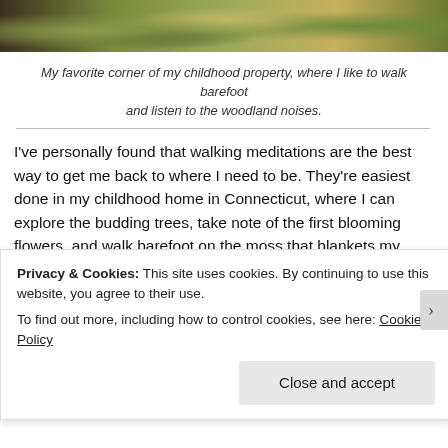[Figure (photo): A woodland/nature scene showing moss, trees, and green foliage — the author's favorite corner of their childhood property.]
My favorite corner of my childhood property, where I like to walk barefoot and listen to the woodland noises.
I've personally found that walking meditations are the best way to get me back to where I need to be. They're easiest done in my childhood home in Connecticut, where I can explore the budding trees, take note of the first blooming flowers, and walk barefoot on the moss that blankets my favorite corner of the property. In these times I leave my phone, my to-do list, the frustration of a published piece poorly received, a draft that isn't sitting right or a pitch that's gone unanswered. I let go of my financial fears, my di...
Privacy & Cookies: This site uses cookies. By continuing to use this website, you agree to their use.
To find out more, including how to control cookies, see here: Cookie Policy